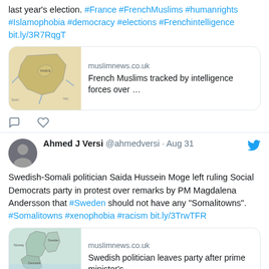last year's election. #France #FrenchMuslims #humanrights #Islamophobia #democracy #elections #Frenchintelligence bit.ly/3R7RqgT
[Figure (screenshot): Link card showing muslimnews.co.uk with map of France thumbnail and text 'French Muslims tracked by intelligence forces over ...']
Ahmed J Versi @ahmedversi · Aug 31 — Swedish-Somali politician Saida Hussein Moge left ruling Social Democrats party in protest over remarks by PM Magdalena Andersson that #Sweden should not have any "Somalitowns". #Somalitowns #xenophobia #racism bit.ly/3TrwTFR
[Figure (screenshot): Link card showing muslimnews.co.uk with map of Scandinavia thumbnail and text 'Swedish politician leaves party after prime minister's...']